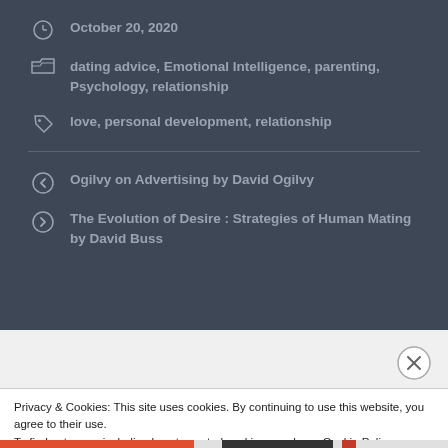October 20, 2020
dating advice, Emotional Intelligence, parenting, Psychology, relationship
love, personal development, relationship
Ogilvy on Advertising by David Ogilvy
The Evolution of Desire : Strategies of Human Mating by David Buss
Privacy & Cookies: This site uses cookies. By continuing to use this website, you agree to their use.
To find out more, including how to control cookies, see here: Cookie Policy